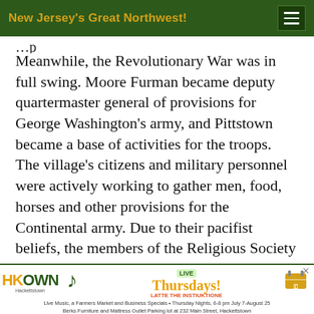New Jersey's Great Northwest!
Meanwhile, the Revolutionary War was in full swing. Moore Furman became deputy quartermaster general of provisions for George Washington's army, and Pittstown became a base of activities for the troops. The village's citizens and military personnel were actively working to gather men, food, horses and other provisions for the Continental army. Due to their pacifist beliefs, the members of the Religious Society of Friends who inhabited the nearby village of Quakertown did not participate in the War, but some did allow provisions to be stored and hidden on their properties. In 1778 Moore Furman built a mill in
[Figure (other): Advertisement banner for Hackettstown Live Music, Farmers Market and Business Specials on Thursday Nights 6-8 pm July 7-August 25 at Berks Furniture and Mattress Outlet Parking lot at 232 Main Street, Hackettstown]